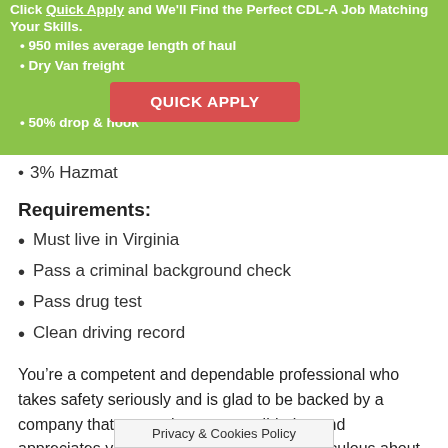Click Quick Apply and We'll Find the Perfect CDL-A Job Matching Your Skills.
950 miles average length of haul
Dry Van freight
50% drop & hook
3% Hazmat
Requirements:
Must live in Virginia
Pass a criminal background check
Pass drug test
Clean driving record
You’re a competent and dependable professional who takes safety seriously and is glad to be backed by a company that cares about your well-being and appreciates your contributions. You are meticulous about sending in the proper paperwork for your loads and treat everyone you meet along the way with respect. As much as you love adventure, you also lov… As you
Privacy & Cookies Policy